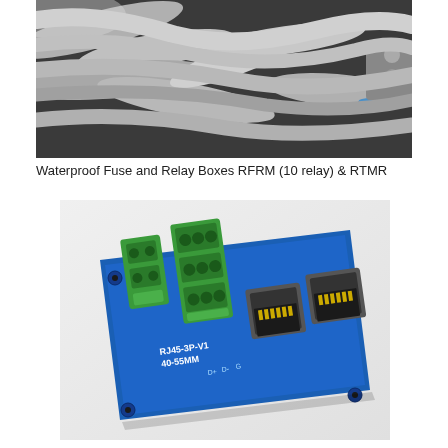[Figure (photo): Photo of waterproof fuse and relay boxes showing cables and wiring inside an enclosure, grey wires and connectors visible]
Waterproof Fuse and Relay Boxes RFRM (10 relay) & RTMR
[Figure (photo): Photo of a blue PCB board labeled RJ45-3P-V1 40-55MM with green terminal blocks and dual RJ45 ethernet port connectors mounted on it]